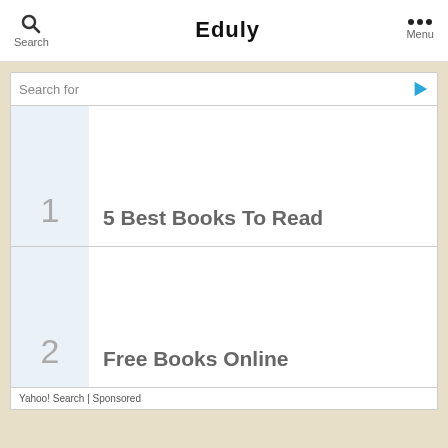Search  Eduly  Menu
Search for
1  5 Best Books To Read
2  Free Books Online
Yahoo! Search | Sponsored